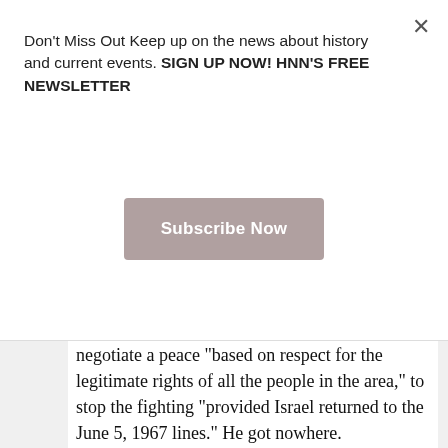Don't Miss Out Keep up on the news about history and current events. SIGN UP NOW! HNN'S FREE NEWSLETTER
[Figure (other): Subscribe Now button - a rectangular button with muted rose/taupe background color]
negotiate a peace "based on respect for the legitimate rights of all the people in the area," to stop the fighting "provided Israel returned to the June 5, 1967 lines." He got nowhere.
Sadat was desperate. The Egyptian public was increasingly hungry and blamed the government for food shortages, massive unemployment and corruption. So, Sadat set in motion a